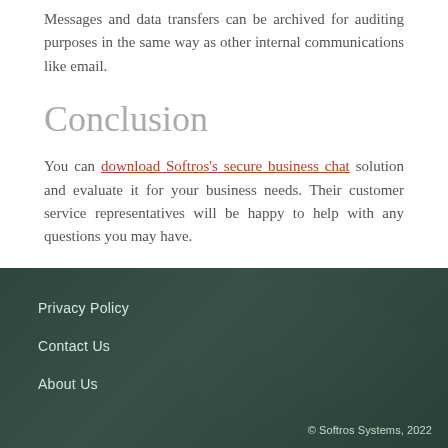Messages and data transfers can be archived for auditing purposes in the same way as other internal communications like email.
Conclusion
You can download Softros's secure business chat solution and evaluate it for your business needs. Their customer service representatives will be happy to help with any questions you may have.
Privacy Policy
Contact Us
About Us
© Softros Systems, 2022